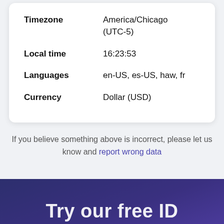| Field | Value |
| --- | --- |
| Timezone | America/Chicago (UTC-5) |
| Local time | 16:23:53 |
| Languages | en-US, es-US, haw, fr |
| Currency | Dollar (USD) |
If you believe something above is incorrect, please let us know and report wrong data
Try our free ID